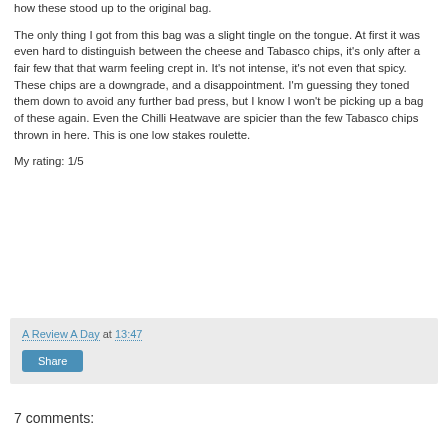how these stood up to the original bag.
The only thing I got from this bag was a slight tingle on the tongue. At first it was even hard to distinguish between the cheese and Tabasco chips, it's only after a fair few that that warm feeling crept in. It's not intense, it's not even that spicy. These chips are a downgrade, and a disappointment. I'm guessing they toned them down to avoid any further bad press, but I know I won't be picking up a bag of these again. Even the Chilli Heatwave are spicier than the few Tabasco chips thrown in here. This is one low stakes roulette.
My rating: 1/5
A Review A Day at 13:47
Share
7 comments: